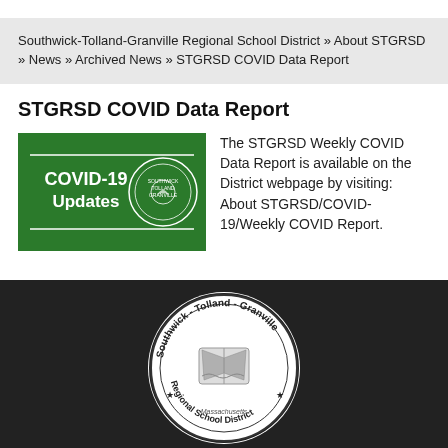Southwick-Tolland-Granville Regional School District » About STGRSD » News » Archived News » STGRSD COVID Data Report
STGRSD COVID Data Report
[Figure (illustration): Green banner with COVID-19 Updates text and school district circular seal logo]
The STGRSD Weekly COVID Data Report is available on the District webpage by visiting: About STGRSD/COVID-19/Weekly COVID Report.
[Figure (logo): Southwick-Tolland-Granville Regional School District circular seal logo on dark footer background]